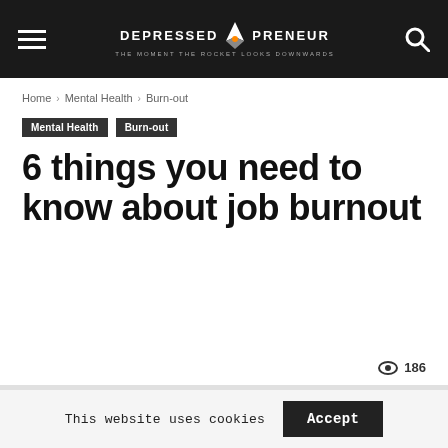DEPRESSED PRENEUR — THE MOMENT THE ROCKET LOOKS DOWNWARDS
Home › Mental Health › Burn-out
Mental Health  Burn-out
6 things you need to know about job burnout
186
[Figure (photo): Article hero image placeholder, light gray area]
This website uses cookies  Accept